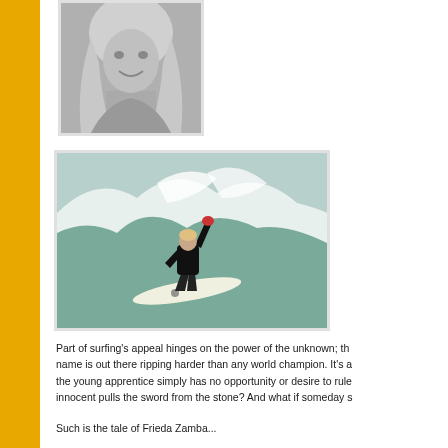[Figure (photo): Black and white portrait photo of a young woman with long blonde hair smiling at the camera]
[Figure (photo): Color photograph of a surfer in a black wetsuit riding a wave on a white surfboard, with white ocean spray behind them]
Part of surfing's appeal hinges on the power of the unknown; the name is out there ripping harder than any world champion. It's a the young apprentice simply has no opportunity or desire to rule innocent pulls the sword from the stone? And what if someday s
Such is the tale of Frieda Zamba...